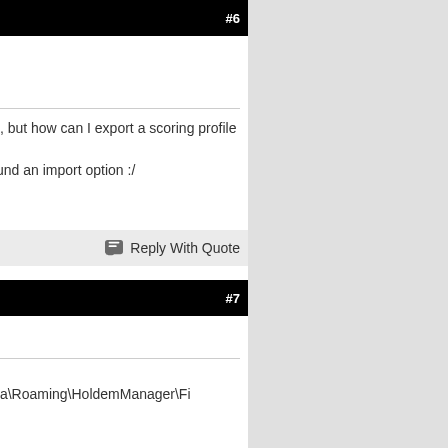#6
t, but how can I export a scoring profile
und an import option :/
Reply With Quote
#7
ta\Roaming\HoldemManager\Fi